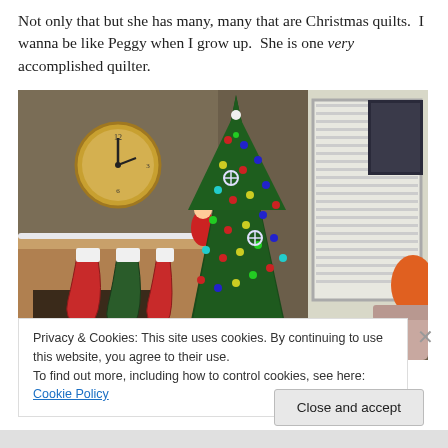Not only that but she has many, many that are Christmas quilts. I wanna be like Peggy when I grow up. She is one very accomplished quilter.
[Figure (photo): A decorated Christmas tree with colorful lights and ornaments near a window, next to a fireplace mantel with stockings hanging and a large clock on the wall. An orange lamp is visible on the right.]
Privacy & Cookies: This site uses cookies. By continuing to use this website, you agree to their use.
To find out more, including how to control cookies, see here: Cookie Policy
Close and accept